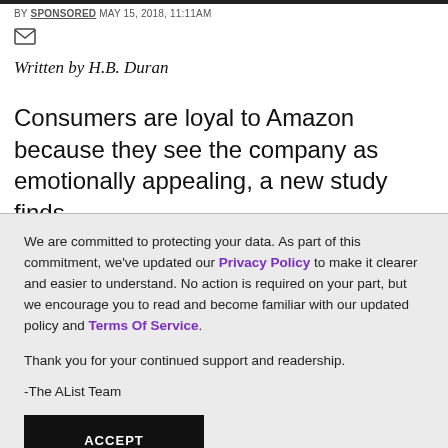BY SPONSORED MAY 15, 2018, 11:11AM
Written by H.B. Duran
Consumers are loyal to Amazon because they see the company as emotionally appealing, a new study finds.
We are committed to protecting your data. As part of this commitment, we've updated our Privacy Policy to make it clearer and easier to understand. No action is required on your part, but we encourage you to read and become familiar with our updated policy and Terms Of Service.

Thank you for your continued support and readership.

-The AList Team